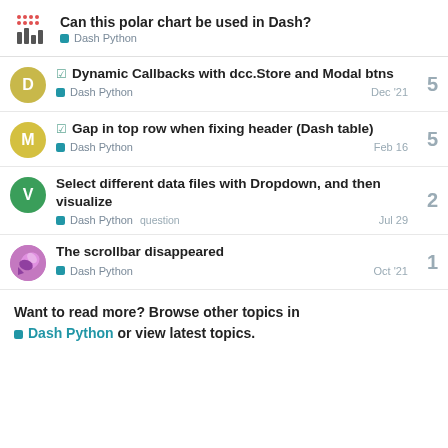Can this polar chart be used in Dash? — Dash Python
Dynamic Callbacks with dcc.Store and Modal btns — Dash Python — Dec '21 — 5 replies
Gap in top row when fixing header (Dash table) — Dash Python — Feb 16 — 5 replies
Select different data files with Dropdown, and then visualize — Dash Python question — Jul 29 — 2 replies
The scrollbar disappeared — Dash Python — Oct '21 — 1 reply
Want to read more? Browse other topics in Dash Python or view latest topics.